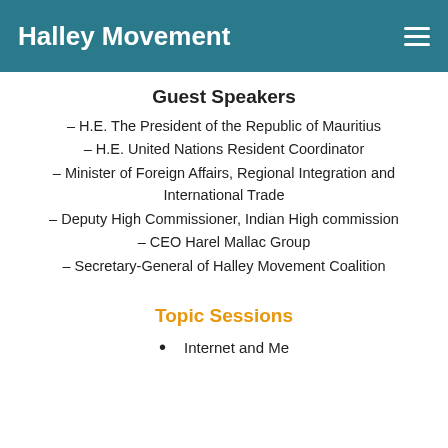Halley Movement
Guest Speakers
– H.E. The President of the Republic of Mauritius
– H.E. United Nations Resident Coordinator
– Minister of Foreign Affairs, Regional Integration and International Trade
– Deputy High Commissioner, Indian High commission
– CEO Harel Mallac Group
– Secretary-General of Halley Movement Coalition
Topic Sessions
Internet and Me